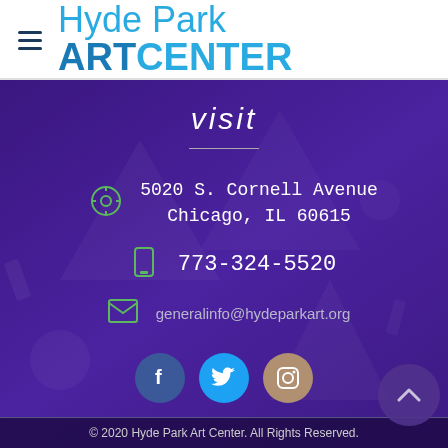Hyde Park ART CENTER
visit
5020 S. Cornell Avenue
Chicago, IL 60615
773-324-5520
generalinfo@hydeparkart.org
[Figure (infographic): Social media icons: Facebook, Twitter, Instagram]
© 2020 Hyde Park Art Center. All Rights Reserved.